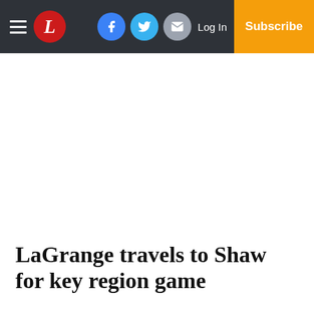LaGrange Daily News - Navigation bar with hamburger menu, logo, social icons, Log In, and Subscribe
LaGrange travels to Shaw for key region game